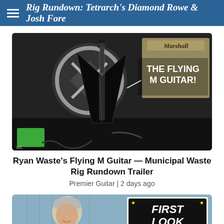Rig Rundown: Tetrarch's Diamond Rowe & Josh Fore
[Figure (photo): Photo of a Flying M guitar (angular black guitar body) leaning against a Marshall amplifier backdrop with text 'THE FLYING M GUITAR!' overlaid on the right side. A round Tetrarch band logo is visible in the background.]
Ryan Waste's Flying M Guitar — Municipal Waste Rig Rundown Trailer
Premier Guitar | 2 days ago
[Figure (photo): Photo of a silver-haired man in a white t-shirt holding a black guitar. On the right is a 'FIRST LOOK' logo badge and a red banner with quotation marks reading 'A LOT OF GUITAR!']